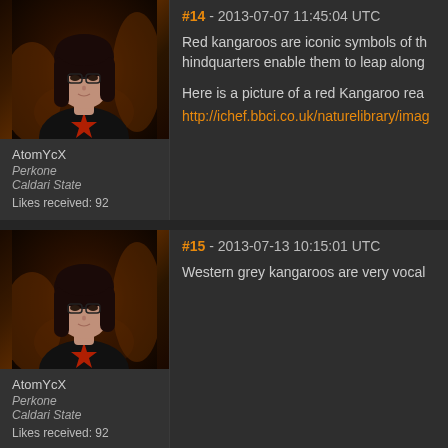[Figure (photo): Forum avatar showing a dark-haired woman with glasses wearing a black t-shirt with a red star, against a dark fiery background (EVE Online character portrait)]
AtomYcX
Perkone
Caldari State
Likes received: 92
#14 - 2013-07-07 11:45:04 UTC
Red kangaroos are iconic symbols of th... hindquarters enable them to leap along...
Here is a picture of a red Kangaroo rea...
http://ichef.bbci.co.uk/naturelibrary/imag...
[Figure (photo): Forum avatar showing a dark-haired woman with glasses wearing a black t-shirt with a red star, against a dark fiery background (EVE Online character portrait)]
AtomYcX
Perkone
Caldari State
Likes received: 92
#15 - 2013-07-13 10:15:01 UTC
Western grey kangaroos are very vocal...